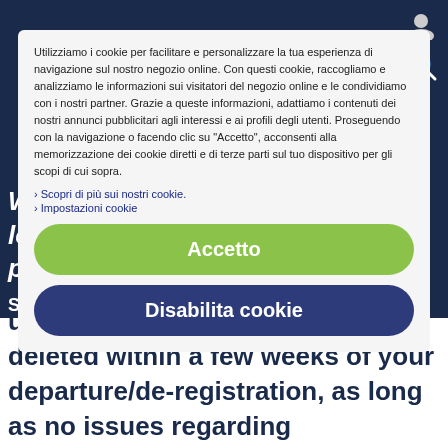Utilizziamo i cookie per facilitare e personalizzare la tua esperienza di navigazione sul nostro negozio online. Con questi cookie, raccogliamo e analizziamo le informazioni sui visitatori del negozio online e le condividiamo con i nostri partner. Grazie a queste informazioni, adattiamo i contenuti dei nostri annunci pubblicitari agli interessi e ai profili degli utenti. Proseguendo con la navigazione o facendo clic su "Accetto", acconsenti alla memorizzazione dei cookie diretti e di terze parti sul tuo dispositivo per gli scopi di cui sopra.
> Scopri di più sui nostri cookie.
> Impostazioni cookie
Accetto
Disabilita cookie
user, your personal data will be deleted within a few weeks of your departure/de-registration, as long as no issues regarding